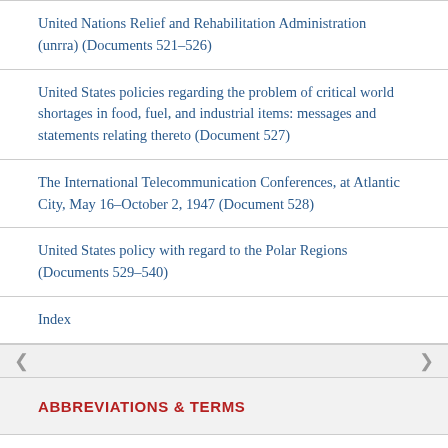United Nations Relief and Rehabilitation Administration (unrra) (Documents 521–526)
United States policies regarding the problem of critical world shortages in food, fuel, and industrial items: messages and statements relating thereto (Document 527)
The International Telecommunication Conferences, at Atlantic City, May 16–October 2, 1947 (Document 528)
United States policy with regard to the Polar Regions (Documents 529–540)
Index
ABBREVIATIONS & TERMS
PPS